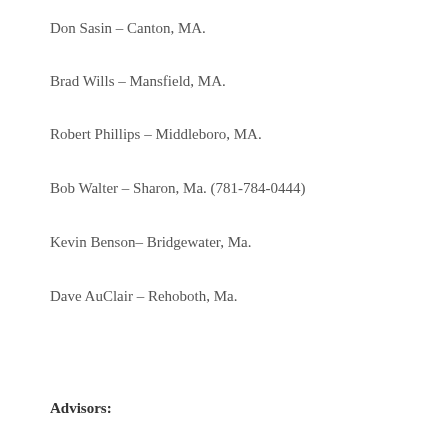Don Sasin – Canton, MA.
Brad Wills – Mansfield, MA.
Robert Phillips – Middleboro, MA.
Bob Walter – Sharon, Ma. (781-784-0444)
Kevin Benson– Bridgewater, Ma.
Dave AuClair – Rehoboth, Ma.
Advisors: